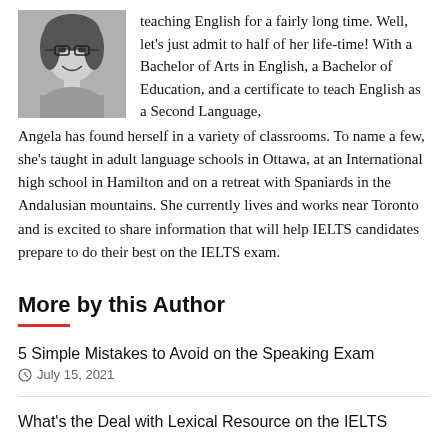[Figure (photo): Black and white photo of a smiling woman with glasses and curly hair]
teaching English for a fairly long time. Well, let's just admit to half of her life-time! With a Bachelor of Arts in English, a Bachelor of Education, and a certificate to teach English as a Second Language, Angela has found herself in a variety of classrooms. To name a few, she's taught in adult language schools in Ottawa, at an International high school in Hamilton and on a retreat with Spaniards in the Andalusian mountains. She currently lives and works near Toronto and is excited to share information that will help IELTS candidates prepare to do their best on the IELTS exam.
More by this Author
5 Simple Mistakes to Avoid on the Speaking Exam
July 15, 2021
What's the Deal with Lexical Resource on the IELTS